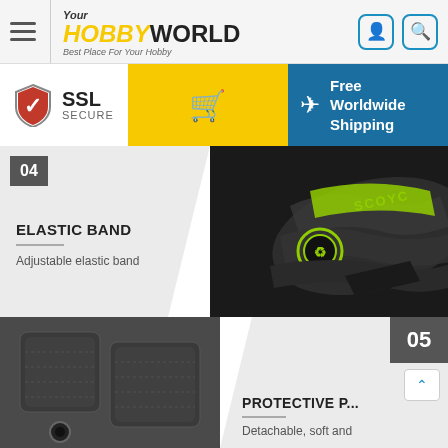Your HOBBY WORLD — Best Place For Your Hobby
[Figure (infographic): SSL Secure badge, yellow shopping cart button, and Free Worldwide Shipping banner with blue background]
[Figure (photo): Close-up of SCOYCO branded elastic band with lime green logo on dark camo pattern fabric — feature 04 ELASTIC BAND]
ELASTIC BAND
Adjustable elastic band
[Figure (photo): Dark grey protective pad fabric with snap button — feature 05 PROTECTIVE PAD]
PROTECTIVE P...
Detachable, soft and